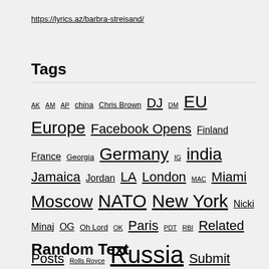https://lyrics.az/barbra-streisand/
Tags
AK AM AP china Chris Brown DJ DM EU Europe Facebook Opens Finland France Georgia Germany IG india Jamaica Jordan LA London MAC Miami Moscow NATO New York Nicki Minaj OG Oh Lord OK Paris PDT RBI Related Posts Rolls Royce Russia Submit Lyrics TV Twitter Opens Ty Dolla uk United States US VIP VVS Vybz Kartel
Random Text